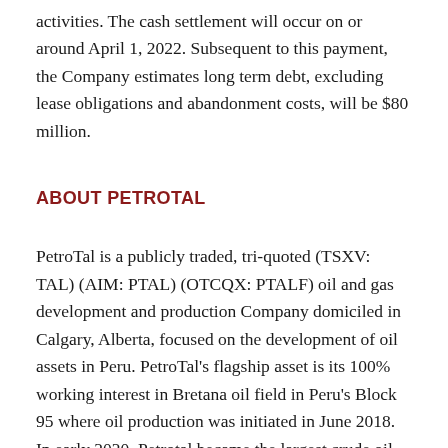activities. The cash settlement will occur on or around April 1, 2022. Subsequent to this payment, the Company estimates long term debt, excluding lease obligations and abandonment costs, will be $80 million.
ABOUT PETROTAL
PetroTal is a publicly traded, tri-quoted (TSXV: TAL) (AIM: PTAL) (OTCQX: PTALF) oil and gas development and production Company domiciled in Calgary, Alberta, focused on the development of oil assets in Peru. PetroTal's flagship asset is its 100% working interest in Bretana oil field in Peru's Block 95 where oil production was initiated in June 2018. In early 2020, Petrotal became the largest crude oil producer in Peru. The Company's management